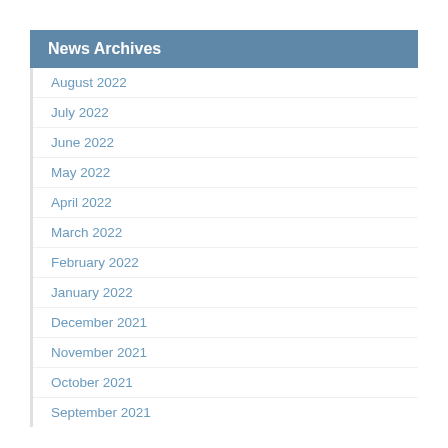News Archives
August 2022
July 2022
June 2022
May 2022
April 2022
March 2022
February 2022
January 2022
December 2021
November 2021
October 2021
September 2021